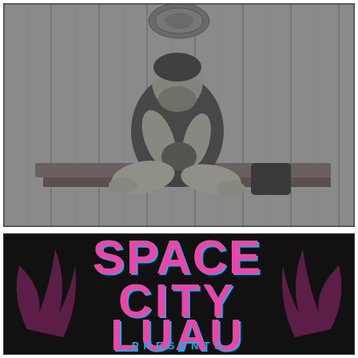[Figure (photo): Black and white photograph of a bearded man sitting cross-legged on a wooden bench against a wooden paneled wall, drinking from a coconut shell cup. A decorative wall hanging is visible above him.]
[Figure (logo): Colorful graffiti-style logo text reading 'SPACE CITY LUAU' in pink/magenta lettering with cyan/blue shadow and flame effects on a black background.]